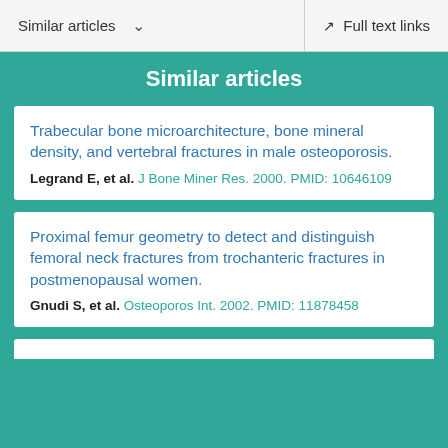Similar articles   Full text links
Similar articles
Trabecular bone microarchitecture, bone mineral density, and vertebral fractures in male osteoporosis.
Legrand E, et al. J Bone Miner Res. 2000. PMID: 10646109
Proximal femur geometry to detect and distinguish femoral neck fractures from trochanteric fractures in postmenopausal women.
Gnudi S, et al. Osteoporos Int. 2002. PMID: 11878458